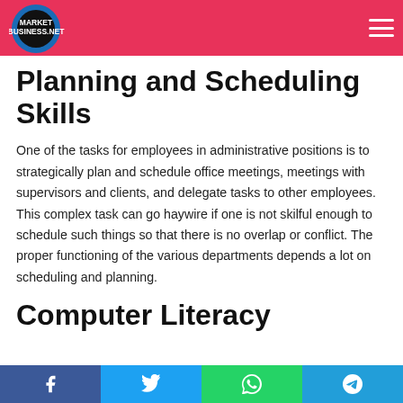Market Business Net — header with logo and hamburger menu
Planning and Scheduling Skills
One of the tasks for employees in administrative positions is to strategically plan and schedule office meetings, meetings with supervisors and clients, and delegate tasks to other employees. This complex task can go haywire if one is not skilful enough to schedule such things so that there is no overlap or conflict. The proper functioning of the various departments depends a lot on scheduling and planning.
Computer Literacy
Social share bar: Facebook, Twitter, WhatsApp, Telegram